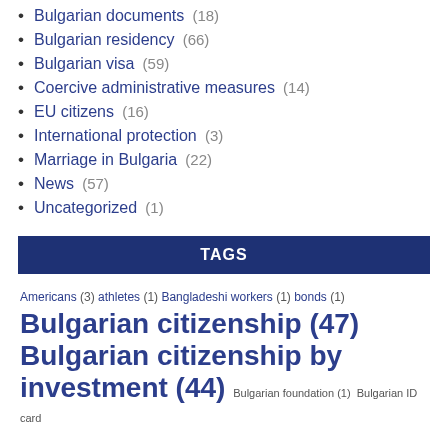Bulgarian documents (18)
Bulgarian residency (66)
Bulgarian visa (59)
Coercive administrative measures (14)
EU citizens (16)
International protection (3)
Marriage in Bulgaria (22)
News (57)
Uncategorized (1)
TAGS
Americans (3) athletes (1) Bangladeshi workers (1) bonds (1) Bulgarian citizenship (47) Bulgarian citizenship by investment (44) Bulgarian foundation (1) Bulgarian ID card